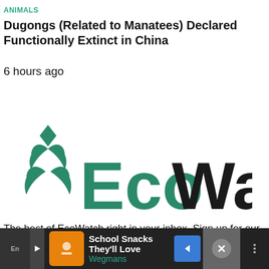ANIMALS
Dugongs (Related to Manatees) Declared Functionally Extinct in China
6 hours ago
[Figure (logo): EcoWatch logo with green leaf icon on the left and text 'Eco' in green and 'Watch' in black]
The best of EcoWatch right in your inbox. Sign up for our email newsletter!
[Figure (screenshot): Advertisement bar at the bottom showing School Snacks They'll Love - Wegmans ad with orange icon, blue navigation arrow, and close button]